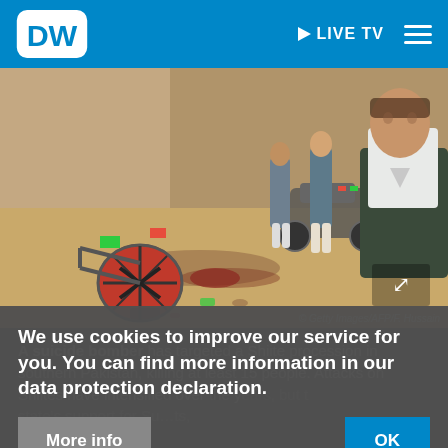DW | LIVE TV
[Figure (photo): A scene showing aftermath of a bombing in southern Pakistan, with an overturned vehicle/drum near a wall, scattered debris, and men standing in the background. Getty Images/AFP/F. Hussain photo credit visible.]
© Getty Images/AFP/F. Hussain
A suicide bomber has targeted a Shiite procession in southern Pakistan, killing at least 15 people. Attacks on Shiites have intensified over the years, but t... state's support for Su...ts, experts
We use cookies to improve our service for you. You can find more information in our data protection declaration.
More info
OK